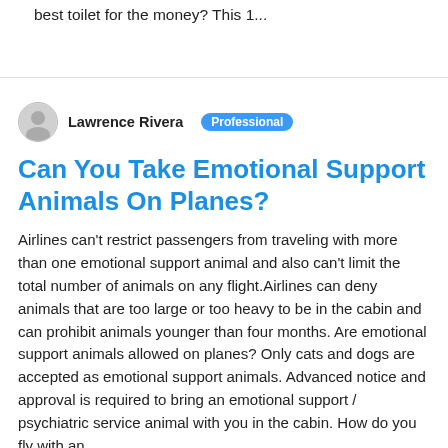best toilet for the money? This 1...
Lawrence Rivera
Professional
Can You Take Emotional Support Animals On Planes?
Airlines can't restrict passengers from traveling with more than one emotional support animal and also can't limit the total number of animals on any flight.Airlines can deny animals that are too large or too heavy to be in the cabin and can prohibit animals younger than four months. Are emotional support animals allowed on planes? Only cats and dogs are accepted as emotional support animals. Advanced notice and approval is required to bring an emotional support / psychiatric service animal with you in the cabin. How do you fly with an